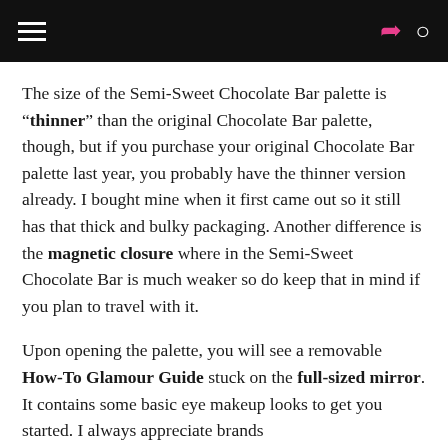[navigation bar with hamburger menu, share icon, and search icon]
The size of the Semi-Sweet Chocolate Bar palette is “thinner” than the original Chocolate Bar palette, though, but if you purchase your original Chocolate Bar palette last year, you probably have the thinner version already. I bought mine when it first came out so it still has that thick and bulky packaging. Another difference is the magnetic closure where in the Semi-Sweet Chocolate Bar is much weaker so do keep that in mind if you plan to travel with it.
Upon opening the palette, you will see a removable How-To Glamour Guide stuck on the full-sized mirror. It contains some basic eye makeup looks to get you started. I always appreciate brands